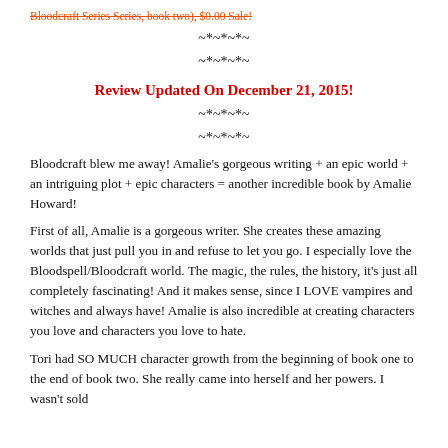Bloodcraft Series Series, book two), $0.00 Sale!
~*~*~*~
~*~*~*~
Review Updated On December 21, 2015!
~*~*~*~
~*~*~*~
Bloodcraft blew me away! Amalie's gorgeous writing + an epic world + an intriguing plot + epic characters = another incredible book by Amalie Howard!
First of all, Amalie is a gorgeous writer. She creates these amazing worlds that just pull you in and refuse to let you go. I especially love the Bloodspell/Bloodcraft world. The magic, the rules, the history, it's just all completely fascinating! And it makes sense, since I LOVE vampires and witches and always have! Amalie is also incredible at creating characters you love and characters you love to hate.
Tori had SO MUCH character growth from the beginning of book one to the end of book two. She really came into herself and her powers. I wasn't sold